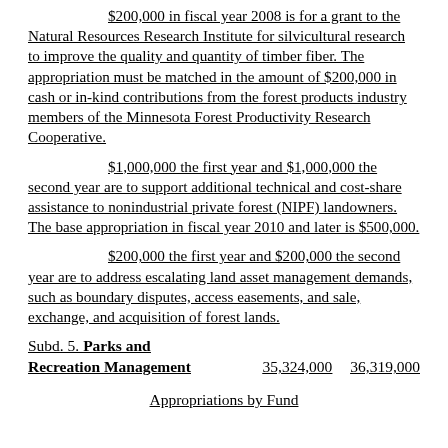$200,000 in fiscal year 2008 is for a grant to the Natural Resources Research Institute for silvicultural research to improve the quality and quantity of timber fiber. The appropriation must be matched in the amount of $200,000 in cash or in-kind contributions from the forest products industry members of the Minnesota Forest Productivity Research Cooperative.
$1,000,000 the first year and $1,000,000 the second year are to support additional technical and cost-share assistance to nonindustrial private forest (NIPF) landowners. The base appropriation in fiscal year 2010 and later is $500,000.
$200,000 the first year and $200,000 the second year are to address escalating land asset management demands, such as boundary disputes, access easements, and sale, exchange, and acquisition of forest lands.
Subd. 5. Parks and Recreation Management     35,324,000     36,319,000
Appropriations by Fund